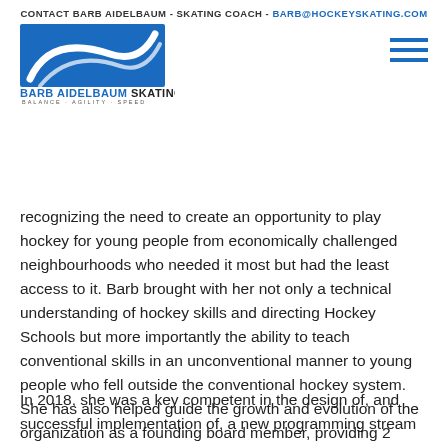CONTACT BARB AIDELBAUM - SKATING COACH - BARB@HOCKEYSKATING.COM
[Figure (logo): Barb Aidelbaum Skating logo — blue swoosh/road graphic above text reading BARB AIDELBAUM SKATING with tagline BALANCE · AGILITY · SPEED]
recognizing the need to create an opportunity to play hockey for young people from economically challenged neighbourhoods who needed it most but had the least access to it. Barb brought with her not only a technical understanding of hockey skills and directing Hockey Schools but more importantly the ability to teach conventional skills in an unconventional manner to young people who fell outside the conventional hockey system. She has also helped guide the growth and evolution of the organization as a founding board member, providing 2 decades of service assisting with fundraising, brand development, policy development, and so much more.
In 2018, she was a key competent in the design of, and successful implementation of, a new programming stream